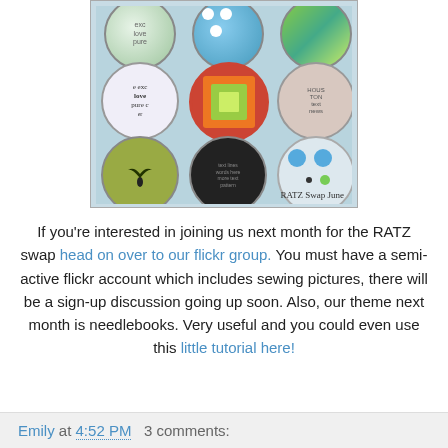[Figure (photo): Photo of colorful fabric-covered pinback buttons labeled 'RATZ Swap June'. Nine buttons arranged in a 3x3 grid on a light blue grid background. Buttons feature various fabric patterns including text prints, geometric patterns, and novelty prints.]
RATZ Swap June
If you're interested in joining us next month for the RATZ swap head on over to our flickr group. You must have a semi-active flickr account which includes sewing pictures, there will be a sign-up discussion going up soon. Also, our theme next month is needlebooks. Very useful and you could even use this little tutorial here!
Emily at 4:52 PM   3 comments: